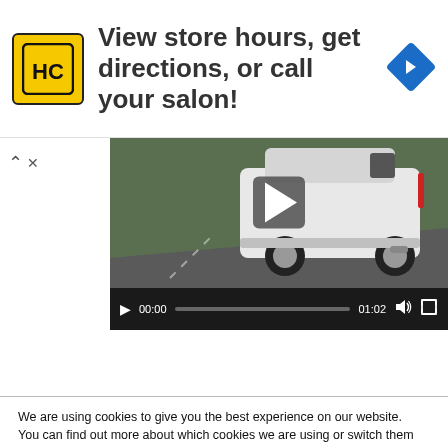[Figure (infographic): Advertisement banner with HC (Hair Club) yellow/black logo on left, text 'View store hours, get directions, or call your salon!' in center, and blue diamond navigation arrow icon on right]
[Figure (screenshot): Embedded video player showing a white SUV driving on a road, with playback controls showing 00:00 current time and 01:02 total duration]
We are using cookies to give you the best experience on our website.
You can find out more about which cookies we are using or switch them off in settings.
Accept Cookies
Reject Cookies
Settings